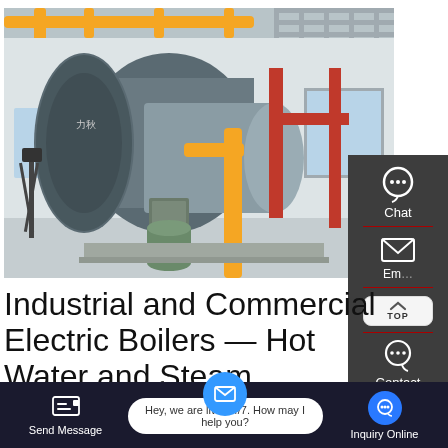[Figure (photo): Industrial boiler in a factory/plant setting. Large cylindrical boiler with yellow and red pipes, silver insulation, mounted on a platform. Yellow overhead pipework and metal ceiling visible.]
Industrial and Commercial Electric Boilers — Hot Water and Steam
Horizontal and vertical boilers/water heaters use electrical
[Figure (screenshot): Side panel with dark background showing: headset/chat icon labeled Chat, envelope icon labeled Email (partially visible), TOP navigation button, speech bubble icon labeled Contact]
[Figure (screenshot): Bottom navigation bar with Send Message button, live chat bubble saying 'Hey, we are live 24/7. How may I help you?', and Inquiry Online button]